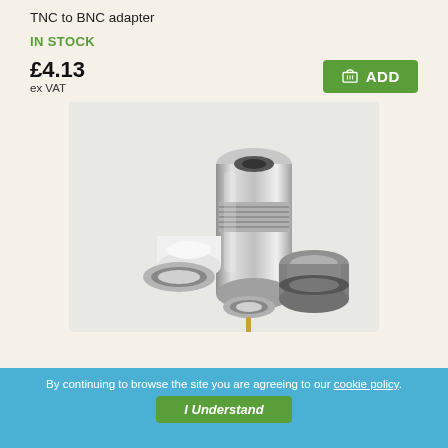TNC to BNC adapter
IN STOCK
£4.13
ex VAT
[Figure (photo): Product photo showing TNC to BNC adapter components: metallic connector body, rings, and pin parts on white/light background]
By continuing to browse the site you are agreeing to our cookie policy.
I Understand